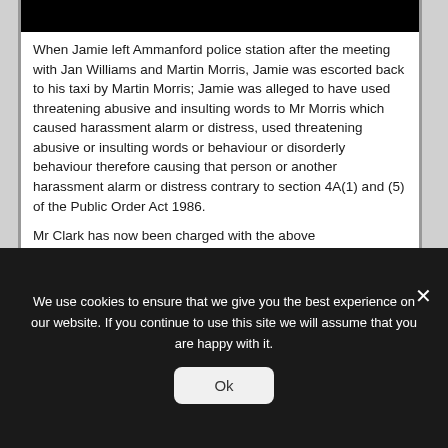[Figure (other): Black redaction bar at top of document content area]
When Jamie left Ammanford police station after the meeting with Jan Williams and Martin Morris, Jamie was escorted back to his taxi by Martin Morris; Jamie was alleged to have used threatening abusive and insulting words to Mr Morris which caused harassment alarm or distress, used threatening abusive or insulting words or behaviour or disorderly behaviour therefore causing that person or another harassment alarm or distress contrary to section 4A(1) and (5) of the Public Order Act 1986.
Mr Clark has now been charged with the above
We use cookies to ensure that we give you the best experience on our website. If you continue to use this site we will assume that you are happy with it.
Ok